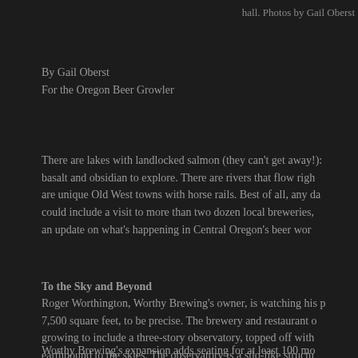hall. Photos by Gail Oberst
By Gail Oberst
For the Oregon Beer Growler
There are lakes with landlocked salmon (they can't get away!): basalt and obsidian to explore. There are rivers that flow righ are unique Old West towns with horse rails. Best of all, any da could include a visit to more than two dozen local breweries, an update on what's happening in Central Oregon's beer wor
To the Sky and Beyond
Roger Worthington, Worthy Brewing's owner, is watching his p 7,500 square feet, to be precise. The brewery and restaurant o growing to include a three-story observatory, topped off with earthbound to the skies. The observatory is a silo-like structu new covered outside patio on the ground floor. An open-air b is also under construction and due for completion this summ
Worthy Brewing's expansion adds seating for at least 100 mo